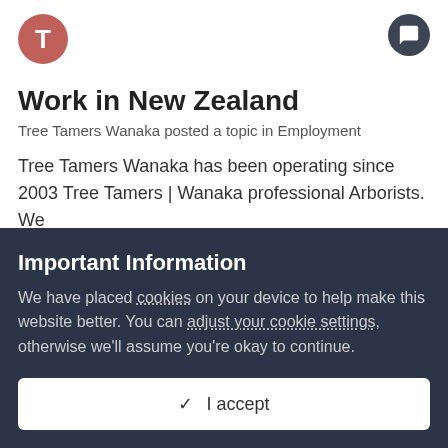Work in New Zealand
Tree Tamers Wanaka posted a topic in Employment
Tree Tamers Wanaka has been operating since 2003 Tree Tamers | Wanaka professional Arborists. We
July 30, 2014   wanaka   new zealand
Important Information
We have placed cookies on your device to help make this website better. You can adjust your cookie settings, otherwise we'll assume you're okay to continue.
✓  I accept